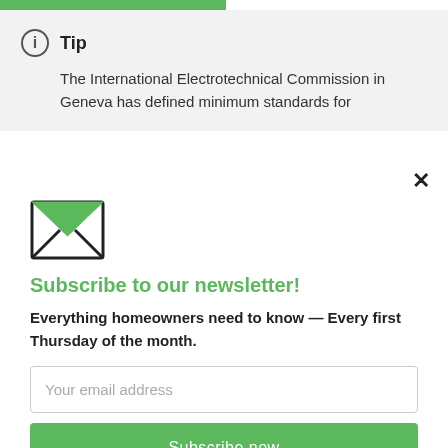[Figure (illustration): Green progress bar at top of page]
Tip
The International Electrotechnical Commission in Geneva has defined minimum standards for
[Figure (illustration): Green envelope/mail icon]
Subscribe to our newsletter!
Everything homeowners need to know — Every first Thursday of the month.
Your email address
Subscribe now